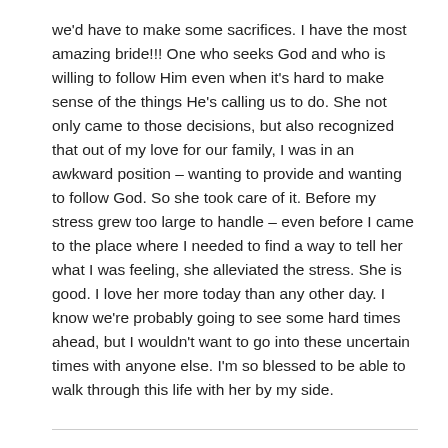we'd have to make some sacrifices. I have the most amazing bride!!! One who seeks God and who is willing to follow Him even when it's hard to make sense of the things He's calling us to do. She not only came to those decisions, but also recognized that out of my love for our family, I was in an awkward position – wanting to provide and wanting to follow God. So she took care of it. Before my stress grew too large to handle – even before I came to the place where I needed to find a way to tell her what I was feeling, she alleviated the stress. She is good. I love her more today than any other day. I know we're probably going to see some hard times ahead, but I wouldn't want to go into these uncertain times with anyone else. I'm so blessed to be able to walk through this life with her by my side.